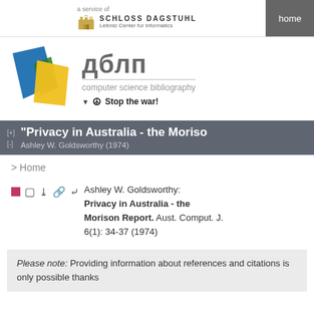a service of SCHLOSS DAGSTUHL Leibniz Center for Informatics | home
[Figure (logo): DBLP computer science bibliography logo with colorful polygon shapes and Cyrillic-style text дблп]
"Privacy in Australia - the Morison..." Ashley W. Goldsworthy (1974)
> Home
Ashley W. Goldsworthy: Privacy in Australia - the Morison Report. Aust. Comput. J. 6(1): 34-37 (1974)
Please note: Providing information about references and citations is only possible thanks